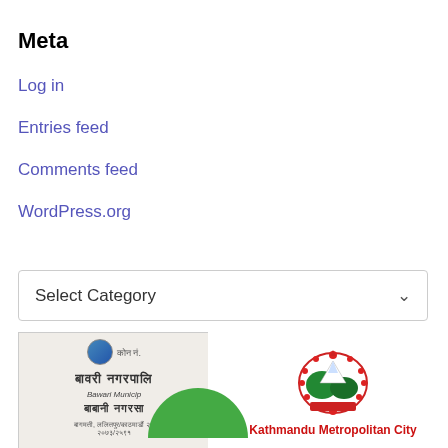Meta
Log in
Entries feed
Comments feed
WordPress.org
Select Category
[Figure (photo): Sign board of Bagmati Nagarpalika (Bagmati Municipal) in Nepali and English with government emblem]
[Figure (logo): Kathmandu Metropolitan City logo with emblem and red text]